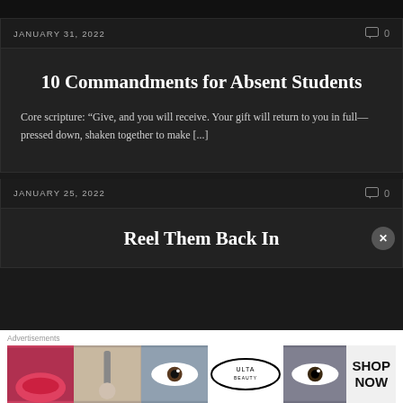JANUARY 31, 2022
0
10 Commandments for Absent Students
Core scripture: “Give, and you will receive. Your gift will return to you in full—pressed down, shaken together to make [...]
JANUARY 25, 2022
0
Reel Them Back In
Advertisements